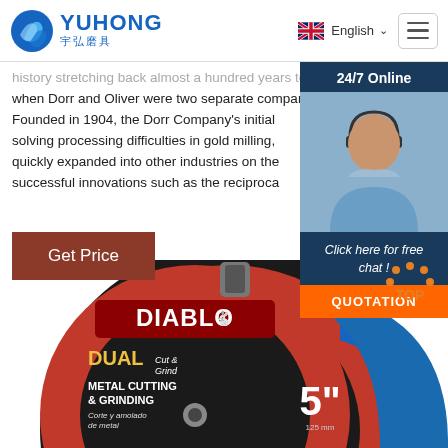YUHONG 宇弘磨具 | English
history stretching back almost a hundred years to a time when Dorr and Oliver were two separate companies. Founded in 1904, the Dorr Company's initial solving processing difficulties in gold milling, quickly expanded into other industries on the successful innovations such as the reciproca
24/7 Online
Click here for free chat !
QUOTATION
Get Price
[Figure (photo): Diablo Dual Cut & Grind Metal Cutting & Grinding 5-inch disc product photo]
[Figure (illustration): TOP return-to-top icon with orange dots in arc shape]